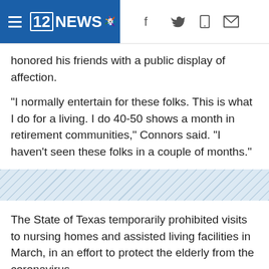12NEWS
honored his friends with a public display of affection.
"I normally entertain for these folks. This is what I do for a living. I do 40-50 shows a month in retirement communities," Connors said. "I haven't seen these folks in a couple of months."
[Figure (other): Diagonal hatched pattern divider banner]
The State of Texas temporarily prohibited visits to nursing homes and assisted living facilities in March, in an effort to protect the elderly from the coronavirus.
Connors isn't allowed inside The Village and Meyerland, but with a little creativity and on a bright, sunny day, the assisted living facility was able to help Connors setup a 45